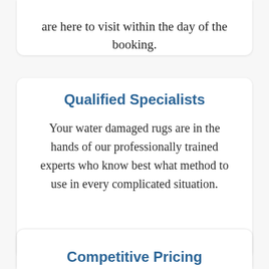are here to visit within the day of the booking.
Qualified Specialists
Your water damaged rugs are in the hands of our professionally trained experts who know best what method to use in every complicated situation.
Competitive Pricing